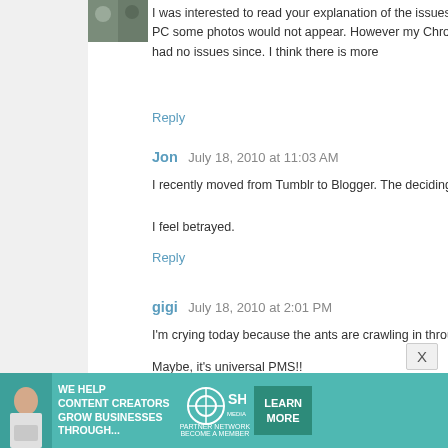I was interested to read your explanation of the issues with my work PC some photos would not appear. However my Chrome and have had no issues since. I think there is more
Reply
Jon  July 18, 2010 at 11:03 AM
I recently moved from Tumblr to Blogger. The deciding facto
I feel betrayed.
Reply
gigi  July 18, 2010 at 2:01 PM
I'm crying today because the ants are crawling in through m
Maybe, it's universal PMS!!
The ants are staying outside (mostly) cause i plugged up th
Reply
[Figure (infographic): Advertisement banner for SHE Media Partner Network. Teal background with person holding tablet, text reading WE HELP CONTENT CREATORS GROW BUSINESSES THROUGH... with SHE logo and LEARN MORE button]